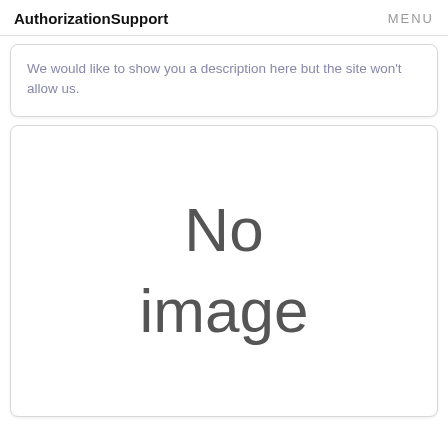AuthorizationSupport   MENU
We would like to show you a description here but the site won't allow us.
[Figure (other): Placeholder image area showing 'No image' text in large gray sans-serif font on white background with rounded border card]